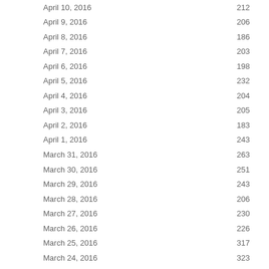| Date | Value |
| --- | --- |
| April 10, 2016 | 212 |
| April 9, 2016 | 206 |
| April 8, 2016 | 186 |
| April 7, 2016 | 203 |
| April 6, 2016 | 198 |
| April 5, 2016 | 232 |
| April 4, 2016 | 204 |
| April 3, 2016 | 205 |
| April 2, 2016 | 183 |
| April 1, 2016 | 243 |
| March 31, 2016 | 263 |
| March 30, 2016 | 251 |
| March 29, 2016 | 243 |
| March 28, 2016 | 206 |
| March 27, 2016 | 230 |
| March 26, 2016 | 226 |
| March 25, 2016 | 317 |
| March 24, 2016 | 323 |
| March 23, 2016 | 261 |
| March 22, 2016 | 221 |
| March 21, 2016 | 219 |
| March 20, 2016 | 217 |
| March 19, 2016 | 268 |